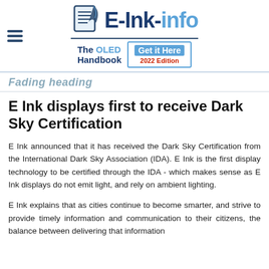E-Ink-info — The OLED Handbook — Get it Here 2022 Edition
Fading heading
E Ink displays first to receive Dark Sky Certification
E Ink announced that it has received the Dark Sky Certification from the International Dark Sky Association (IDA). E Ink is the first display technology to be certified through the IDA - which makes sense as E Ink displays do not emit light, and rely on ambient lighting.
E Ink explains that as cities continue to become smarter, and strive to provide timely information and communication to their citizens, the balance between delivering that information